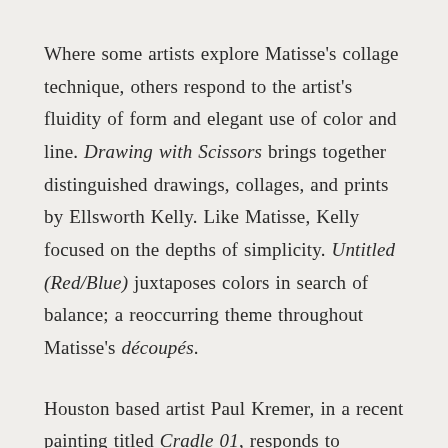Where some artists explore Matisse's collage technique, others respond to the artist's fluidity of form and elegant use of color and line. Drawing with Scissors brings together distinguished drawings, collages, and prints by Ellsworth Kelly. Like Matisse, Kelly focused on the depths of simplicity. Untitled (Red/Blue) juxtaposes colors in search of balance; a reoccurring theme throughout Matisse's découpés.
Houston based artist Paul Kremer, in a recent painting titled Cradle 01, responds to Matisse's collage work. His buoyant shapes and colors emanate possibility and evoke the ease of Matisse's creations in captivating